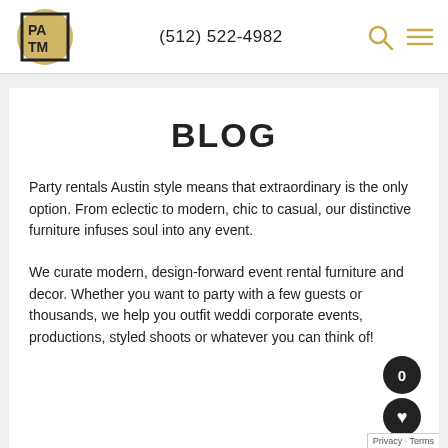[Figure (logo): PATM logo: gold circle behind a black square border with letters PA TM inside]
(512) 522-4982
[Figure (other): Search icon (magnifying glass) and hamburger menu icon in gold]
BLOG
Party rentals Austin style means that extraordinary is the only option. From eclectic to modern, chic to casual, our distinctive furniture infuses soul into any event.
We curate modern, design-forward event rental furniture and decor. Whether you want to party with a few guests or thousands, we help you outfit weddi corporate events, productions, styled shoots or whatever you can think of!